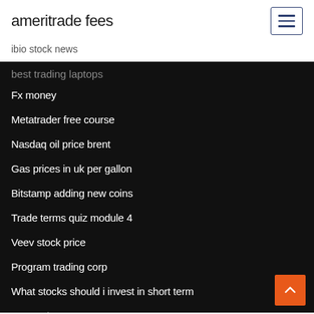ameritrade fees
ibio stock news
best trading laptops
Fx money
Metatrader free course
Nasdaq oil price brent
Gas prices in uk per gallon
Bitstamp adding new coins
Trade terms quiz module 4
Veev stock price
Program trading corp
What stocks should i invest in short term
Scottrade account recovery